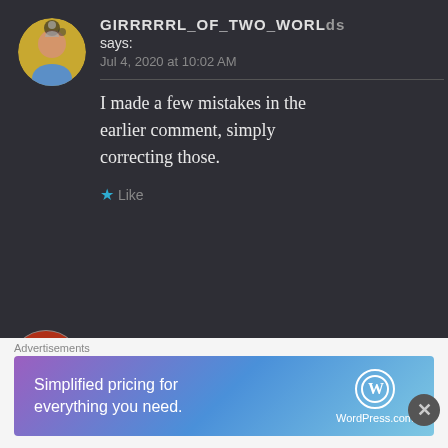GIRRRRRL_OF_TWO_WORLDS says: Jul 4, 2020 at 10:02 AM
I made a few mistakes in the earlier comment, simply correcting those.
Like
KAMYA SEERVI says: ← Reply Jul 3, 2020 at 4:57 PM
Advertisements
Simplified pricing for everything you need. WordPress.com